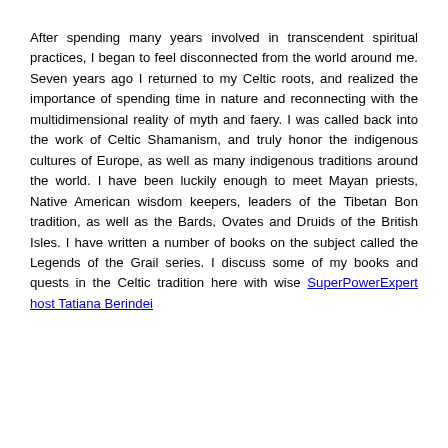After spending many years involved in transcendent spiritual practices, I began to feel disconnected from the world around me. Seven years ago I returned to my Celtic roots, and realized the importance of spending time in nature and reconnecting with the multidimensional reality of myth and faery. I was called back into the work of Celtic Shamanism, and truly honor the indigenous cultures of Europe, as well as many indigenous traditions around the world. I have been luckily enough to meet Mayan priests, Native American wisdom keepers, leaders of the Tibetan Bon tradition, as well as the Bards, Ovates and Druids of the British Isles. I have written a number of books on the subject called the Legends of the Grail series. I discuss some of my books and quests in the Celtic tradition here with wise SuperPowerExpert host Tatiana Berindei